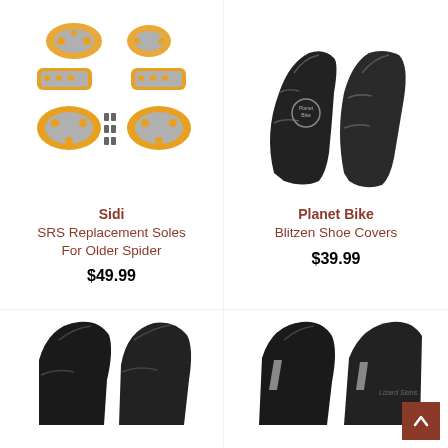[Figure (photo): Sidi SRS replacement soles components — orange and grey plastic pieces with screws on white background]
Sidi
SRS Replacement Soles For Older Spider
$49.99
[Figure (photo): Planet Bike Blitzen shoe covers — pair of black neoprene cycling shoe covers on white background]
Planet Bike
Blitzen Shoe Covers
$39.99
[Figure (photo): Partial view of black cycling shoe covers — bottom left product, cropped]
[Figure (photo): Partial view of black cycling shoe covers with reflective stripe — bottom right product, cropped]